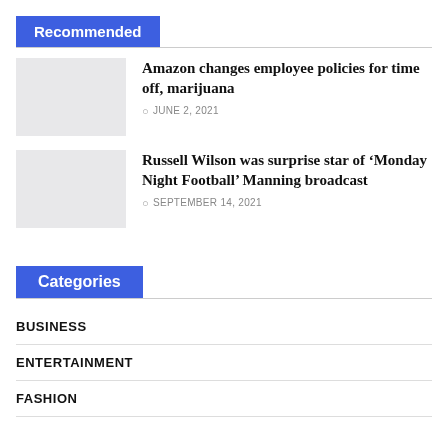Recommended
Amazon changes employee policies for time off, marijuana — JUNE 2, 2021
Russell Wilson was surprise star of ‘Monday Night Football’ Manning broadcast — SEPTEMBER 14, 2021
Categories
BUSINESS
ENTERTAINMENT
FASHION